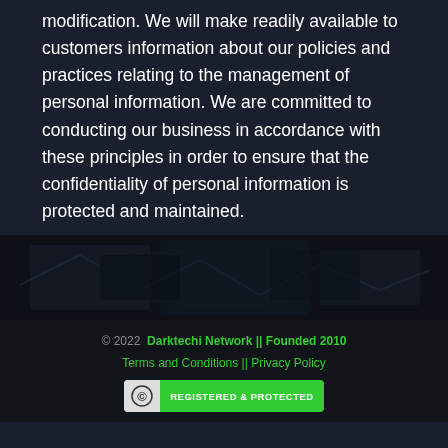modification. We will make readily available to customers information about our policies and practices relating to the management of personal information. We are committed to conducting our business in accordance with these principles in order to ensure that the confidentiality of personal information is protected and maintained.
[Figure (photo): Dark banner image with faint background graphic/logo shapes, very low visibility against dark background]
© 2022  Darktechi Network || Founded 2010
Terms and Conditions || Privacy Policy
REGISTERED & PROTECTED